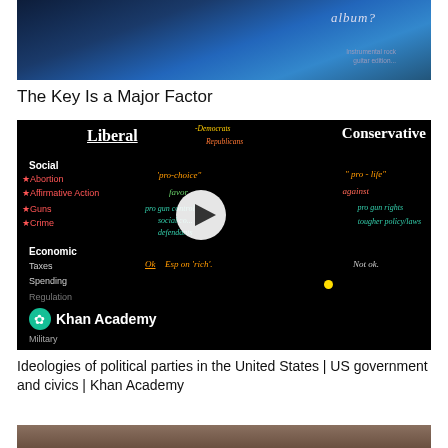[Figure (screenshot): Partial screenshot of a music album thumbnail with blue gradient background and cursive 'album?' text]
The Key Is a Major Factor
[Figure (screenshot): Khan Academy video thumbnail showing a chalkboard comparison of Liberal (Democrats) vs Conservative (Republicans) positions on Social issues (Abortion: pro-choice vs pro-life, Affirmative Action: favor vs against, Guns: pro gun control vs pro gun rights, Crime: social context/defendants vs tougher policy/laws) and Economic issues (Taxes, Spending, Regulation) with OK Esp on 'rich' vs Not ok, with Khan Academy logo]
Ideologies of political parties in the United States | US government and civics | Khan Academy
[Figure (photo): Partial view of a bottom image, appears to show people in warm tones]